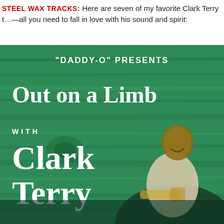STEEL WAX TRACKS: Here are seven of my favorite Clark Terry tracks—all you need to fall in love with his sound and spirit:
[Figure (photo): Album cover for 'Daddy-O Presents Out on a Limb with Clark Terry'. Green-tinted wood grain background with white text showing the album title. A black and white photo of Clark Terry holding a trumpet appears in the lower right.]